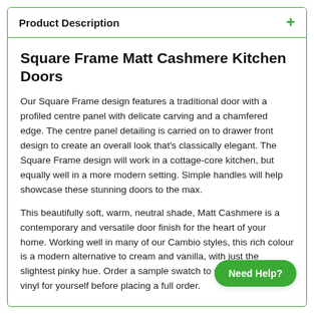Product Description
Square Frame Matt Cashmere Kitchen Doors
Our Square Frame design features a traditional door with a profiled centre panel with delicate carving and a chamfered edge. The centre panel detailing is carried on to drawer front design to create an overall look that's classically elegant. The Square Frame design will work in a cottage-core kitchen, but equally well in a more modern setting. Simple handles will help showcase these stunning doors to the max.
This beautifully soft, warm, neutral shade, Matt Cashmere is a contemporary and versatile door finish for the heart of your home. Working well in many of our Cambio styles, this rich colour is a modern alternative to cream and vanilla, with just the slightest pinky hue. Order a sample swatch to see the shade of vinyl for yourself before placing a full order.
Need Help?